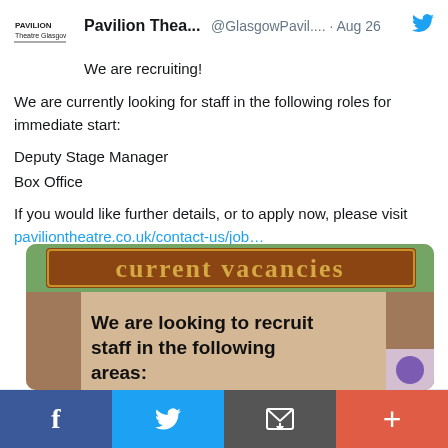Pavilion Thea... @GlasgowPavil.... · Aug 26
We are recruiting!
We are currently looking for staff in the following roles for immediate start:
Deputy Stage Manager
Box Office
If you would like further details, or to apply now, please visit paviliontheatre.co.uk/contact-us/job…
[Figure (photo): Current vacancies sign image showing text 'current vacancies' in decorative font at top, and below on a tan/beige background: 'We are looking to recruit staff in the following areas:']
Facebook | Twitter | Email | Plus